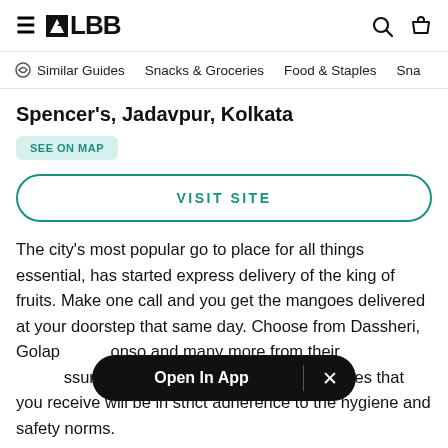LBB
Similar Guides  Snacks & Groceries  Food & Staples  Sna
Spencer's, Jadavpur, Kolkata
SEE ON MAP
VISIT SITE
The city's most popular go to place for all things essential, has started express delivery of the king of fruits. Make one call and you get the mangoes delivered at your doorstep that same day. Choose from Dassheri, Golapbhog, Alphonso and many more from their collection. Rest assured that the package of fresh mangoes that you receive will be in strict adherence to the hygiene and safety norms.
Open In App  ×